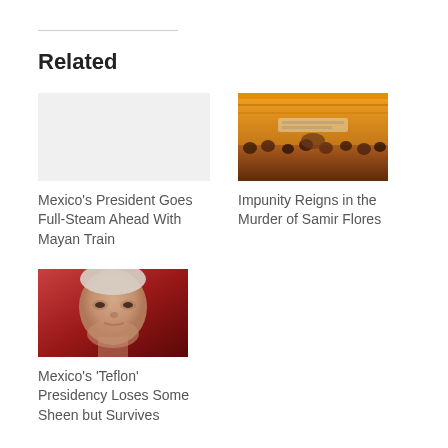Related
[Figure (photo): No image placeholder for Mexico Mayan Train article]
Mexico's President Goes Full-Steam Ahead With Mayan Train
[Figure (photo): Crowd gathered under a yellow tent/awning at a public event related to Samir Flores murder case]
Impunity Reigns in the Murder of Samir Flores
[Figure (photo): Close-up photo of Mexican president looking upward against a red background]
Mexico's 'Teflon' Presidency Loses Some Sheen but Survives